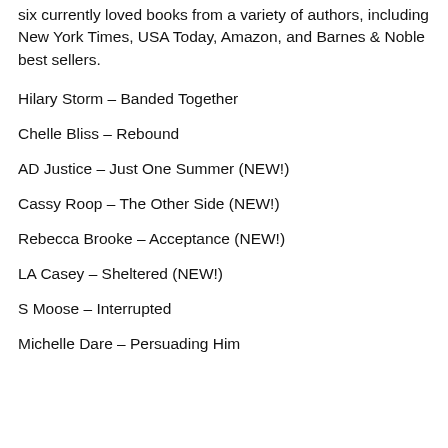This collection contains seven never published and six currently loved books from a variety of authors, including New York Times, USA Today, Amazon, and Barnes & Noble best sellers.
Hilary Storm – Banded Together
Chelle Bliss – Rebound
AD Justice – Just One Summer (NEW!)
Cassy Roop – The Other Side (NEW!)
Rebecca Brooke – Acceptance (NEW!)
LA Casey – Sheltered (NEW!)
S Moose – Interrupted
Michelle Dare – Persuading Him